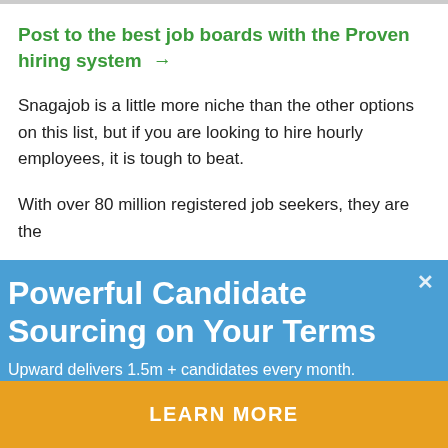Post to the best job boards with the Proven hiring system →
Snagajob is a little more niche than the other options on this list, but if you are looking to hire hourly employees, it is tough to beat.
With over 80 million registered job seekers, they are the
[Figure (screenshot): A modal advertisement overlay with blue background. Title: 'Powerful Candidate Sourcing on Your Terms'. Subtitle: 'Upward delivers 1.5m + candidates every month.' An email input field with placeholder 'Please enter your email'. A close button (×) in top right. A golden/orange 'LEARN MORE' button at the bottom.]